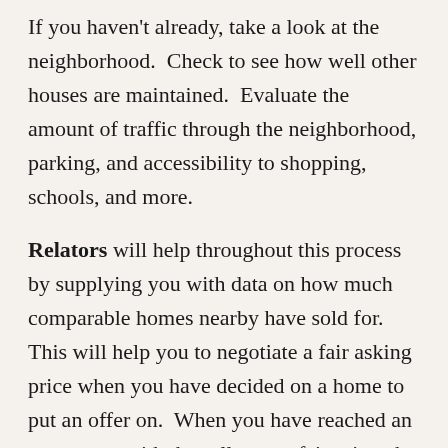If you haven't already, take a look at the neighborhood.  Check to see how well other houses are maintained.  Evaluate the amount of traffic through the neighborhood, parking, and accessibility to shopping, schools, and more.
Relators will help throughout this process by supplying you with data on how much comparable homes nearby have sold for.  This will help you to negotiate a fair asking price when you have decided on a home to put an offer on.  When you have reached an agreement with the seller on a fair price, the home will go into what is known as escrow.  At this point you will have a number of days to get an inspection, make changes to the offer